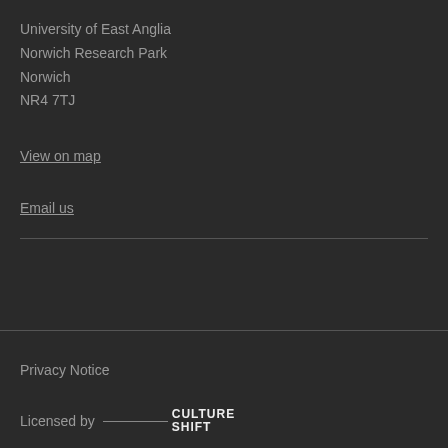University of East Anglia
Norwich Research Park
Norwich
NR4 7TJ
View on map
Email us
Privacy Notice
Licensed by CULTURE SHIFT